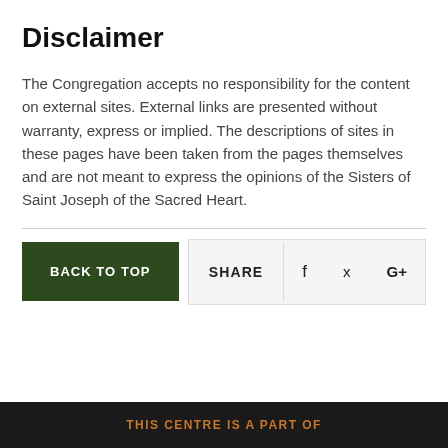Disclaimer
The Congregation accepts no responsibility for the content on external sites. External links are presented without warranty, express or implied. The descriptions of sites in these pages have been taken from the pages themselves and are not meant to express the opinions of the Sisters of Saint Joseph of the Sacred Heart.
BACK TO TOP   SHARE   f   (twitter)   G+
THIS CENTRE IS A PART OF